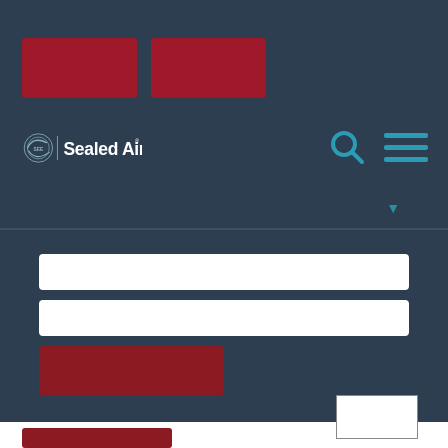[Figure (logo): Sealed Air company logo with SEE symbol on dark navy background, with two red decorative blocks above]
[Figure (screenshot): Login form section with two white input fields and a dark red submit button on navy background]
[Figure (screenshot): Bottom white section with a bordered rectangle box on the right and a red button on the left]